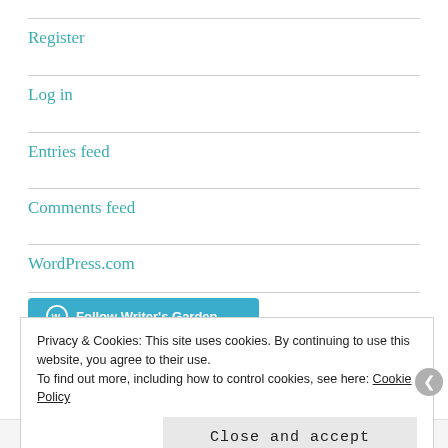Register
Log in
Entries feed
Comments feed
WordPress.com
[Figure (other): Follow Writer's Garden button with WordPress icon]
Privacy & Cookies: This site uses cookies. By continuing to use this website, you agree to their use. To find out more, including how to control cookies, see here: Cookie Policy
Close and accept